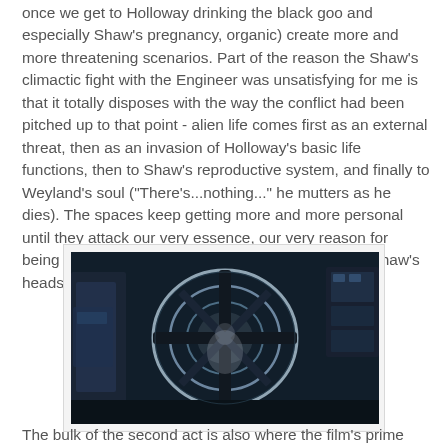once we get to Holloway drinking the black goo and especially Shaw's pregnancy, organic) create more and more threatening scenarios. Part of the reason the Shaw's climactic fight with the Engineer was unsatisfying for me is that it totally disposes with the way the conflict had been pitched up to that point - alien life comes first as an external threat, then as an invasion of Holloway's basic life functions, then to Shaw's reproductive system, and finally to Weyland's soul ("There's...nothing..." he mutters as he dies). The spaces keep getting more and more personal until they attack our very essence, our very reason for being (which is also set up with David's invasion of Shaw's headspace when he watches her dreams).
[Figure (photo): A dark science fiction scene showing what appears to be a medical pod or surgical device with circular transparent elements and robotic arms, from the film Prometheus.]
The bulk of the second act is also where the film's prime